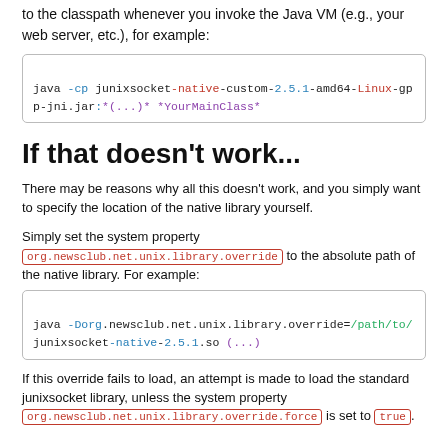An alternative is to directly add the junixsocket-native-custom.jar to the classpath whenever you invoke the Java VM (e.g., your web server, etc.), for example:
java -cp junixsocket-native-custom-2.5.1-amd64-Linux-gpp-jni.jar:*(...)* *YourMainClass*
If that doesn't work...
There may be reasons why all this doesn't work, and you simply want to specify the location of the native library yourself.
Simply set the system property org.newsclub.net.unix.library.override to the absolute path of the native library. For example:
java -Dorg.newsclub.net.unix.library.override=/path/to/junixsocket-native-2.5.1.so (...)
If this override fails to load, an attempt is made to load the standard junixsocket library, unless the system property org.newsclub.net.unix.library.override.force is set to true.